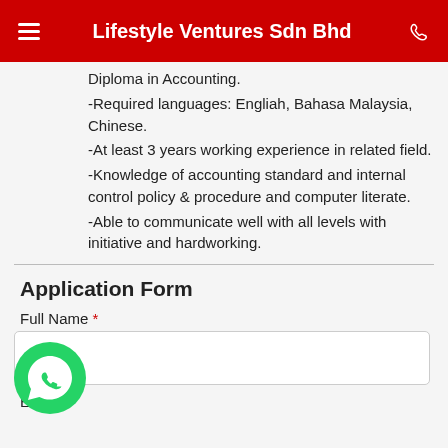Lifestyle Ventures Sdn Bhd
Diploma in Accounting.
-Required languages: Engliah, Bahasa Malaysia, Chinese.
-At least 3 years working experience in related field.
-Knowledge of accounting standard and internal control policy & procedure and computer literate.
-Able to communicate well with all levels with initiative and hardworking.
Application Form
Full Name *
Email *